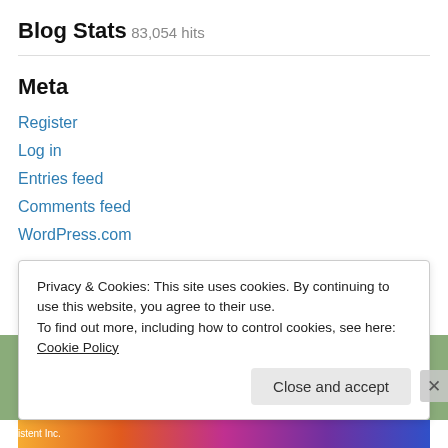Blog Stats
83,054 hits
Meta
Register
Log in
Entries feed
Comments feed
WordPress.com
Privacy & Cookies: This site uses cookies. By continuing to use this website, you agree to their use.
To find out more, including how to control cookies, see here: Cookie Policy
Close and accept